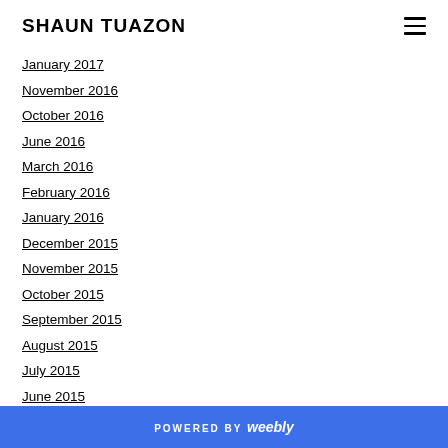SHAUN TUAZON
January 2017
November 2016
October 2016
June 2016
March 2016
February 2016
January 2016
December 2015
November 2015
October 2015
September 2015
August 2015
July 2015
June 2015
May 2015
POWERED BY weebly